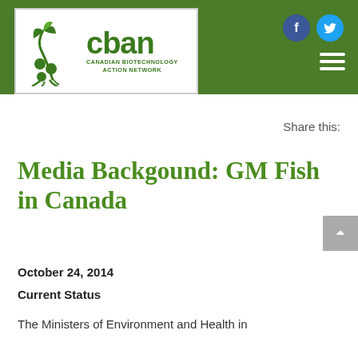[Figure (logo): CBAN Canadian Biotechnology Action Network logo with green plant/leaf graphic in white box on green header bar]
Share this:
Media Backgound: GM Fish in Canada
October 24, 2014
Current Status
The Ministers of Environment and Health in